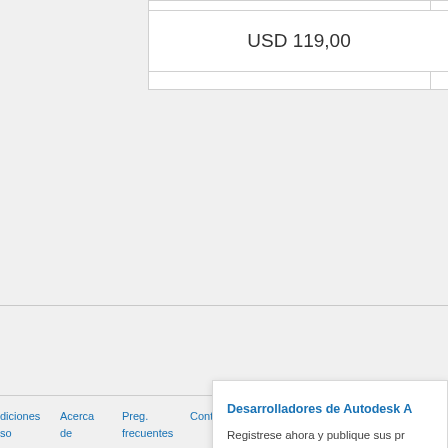USD 119,00
Desarrolladores de Autodesk A
Registrese ahora y publique sus pr... millones de usuarios de Autodesk
[Figure (other): Scroll to top button with upward arrow icon on gray background]
diciones  Acerca de  Preg. frecuentes  Contacto  Privacy Settings
so